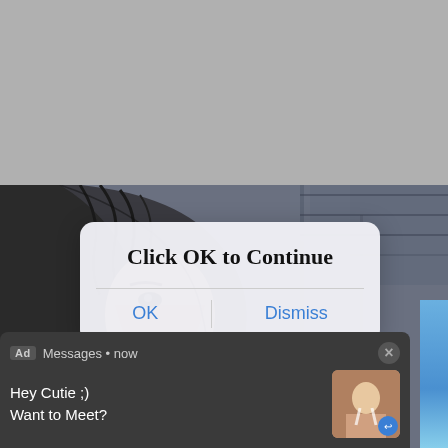[Figure (screenshot): Screenshot of a mobile browser showing a comic book page in the background with a modal dialog overlay saying 'Click OK to Continue' with OK and Dismiss buttons, and an ad notification at the bottom showing 'Messages • now' with text 'Hey Cutie ;) Want to Meet?' and a thumbnail image.]
Click OK to Continue
OK
Dismiss
Ad Messages • now
Hey Cutie ;)
Want to Meet?